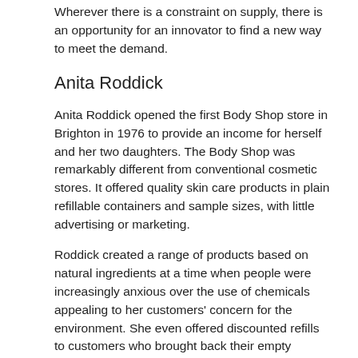Wherever there is a constraint on supply, there is an opportunity for an innovator to find a new way to meet the demand.
Anita Roddick
Anita Roddick opened the first Body Shop store in Brighton in 1976 to provide an income for herself and her two daughters. The Body Shop was remarkably different from conventional cosmetic stores. It offered quality skin care products in plain refillable containers and sample sizes, with little advertising or marketing.
Roddick created a range of products based on natural ingredients at a time when people were increasingly anxious over the use of chemicals appealing to her customers' concern for the environment. She even offered discounted refills to customers who brought back their empty containers. This fresh approach proved a storming success.
Lesson four Do the opposite. Swim against the tide. Anita Roddick deliberately did the reverse of what the